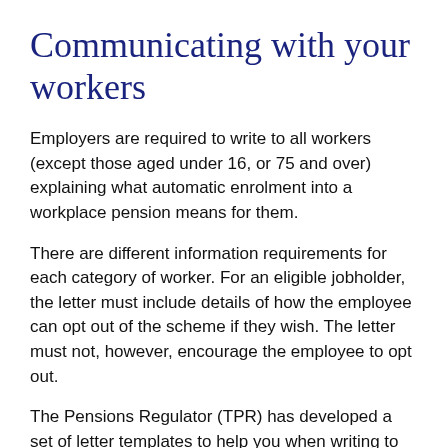Communicating with your workers
Employers are required to write to all workers (except those aged under 16, or 75 and over) explaining what automatic enrolment into a workplace pension means for them.
There are different information requirements for each category of worker. For an eligible jobholder, the letter must include details of how the employee can opt out of the scheme if they wish. The letter must not, however, encourage the employee to opt out.
The Pensions Regulator (TPR) has developed a set of letter templates to help you when writing to your employees.
Automatic enrolment of